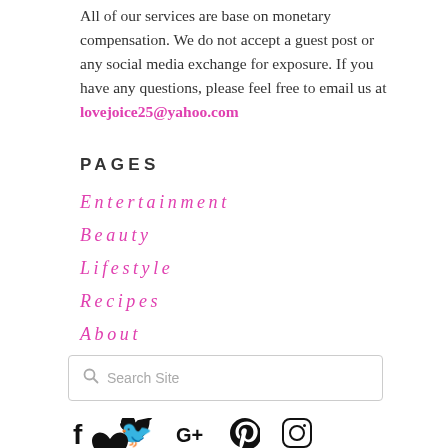All of our services are base on monetary compensation. We do not accept a guest post or any social media exchange for exposure. If you have any questions, please feel free to email us at lovejoice25@yahoo.com
PAGES
Entertainment
Beauty
Lifestyle
Recipes
About
Search Site
[Figure (infographic): Social media icons: Facebook, Twitter, Google+, Pinterest, Instagram, and a heart icon]